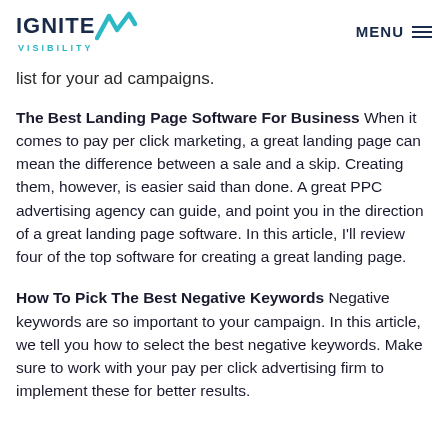IGNITE VISIBILITY — MENU
list for your ad campaigns.
The Best Landing Page Software For Business When it comes to pay per click marketing, a great landing page can mean the difference between a sale and a skip. Creating them, however, is easier said than done. A great PPC advertising agency can guide, and point you in the direction of a great landing page software. In this article, I'll review four of the top software for creating a great landing page.
How To Pick The Best Negative Keywords Negative keywords are so important to your campaign. In this article, we tell you how to select the best negative keywords. Make sure to work with your pay per click advertising firm to implement these for better results.